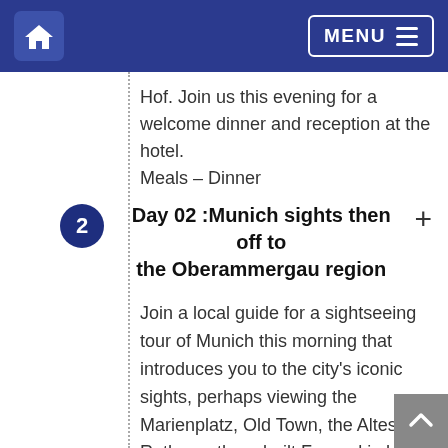Home | MENU
Hof. Join us this evening for a welcome dinner and reception at the hotel. Meals – Dinner
Day 02: Munich sights then off to the Oberammergau region
Join a local guide for a sightseeing tour of Munich this morning that introduces you to the city's iconic sights, perhaps viewing the Marienplatz, Old Town, the Altes Rathaus, the rebuilt Frauenkirche and St. Mary's Column. The remainder of the